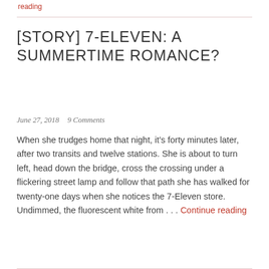reading
[STORY] 7-ELEVEN: A SUMMERTIME ROMANCE?
June 27, 2018   9 Comments
When she trudges home that night, it’s forty minutes later, after two transits and twelve stations. She is about to turn left, head down the bridge, cross the crossing under a flickering street lamp and follow that path she has walked for twenty-one days when she notices the 7-Eleven store. Undimmed, the fluorescent white from … Continue reading